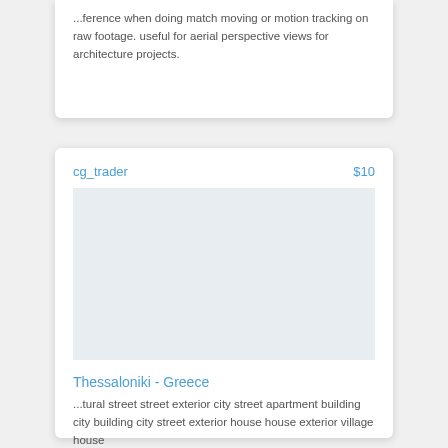...ference when doing match moving or motion tracking on raw footage. useful for aerial perspective views for architecture projects.
cg_trader
$10
[Figure (photo): Product image placeholder area for Thessaloniki - Greece 3D model]
Thessaloniki - Greece
...tural street street exterior city street apartment building city building city street exterior house house exterior village house